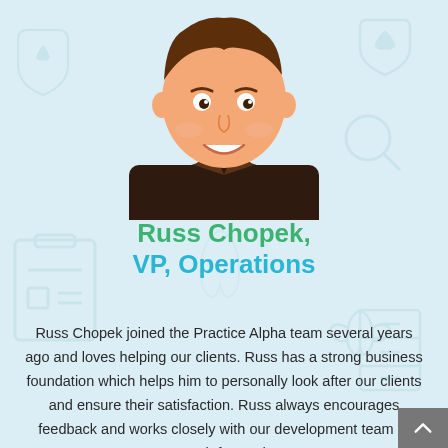[Figure (illustration): Cartoon illustration of a smiling man with brown hair, wearing a dark brown shirt with a collar, shown from the torso up on a light blue background with faint dental/medical watermark icons]
Russ Chopek, VP, Operations
Russ Chopek joined the Practice Alpha team several years ago and loves helping our clients. Russ has a strong business foundation which helps him to personally look after our clients and ensure their satisfaction. Russ always encourages feedback and works closely with our development team to push forward